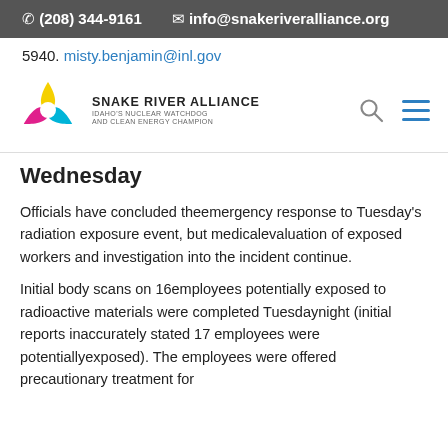(208) 344-9161   info@snakeriveralliance.org
5940. misty.benjamin@inl.gov
[Figure (logo): Snake River Alliance logo with radioactive symbol (yellow, cyan, magenta) and text: SNAKE RIVER ALLIANCE, IDAHO'S NUCLEAR WATCHDOG AND CLEAN ENERGY CHAMPION]
Wednesday
Officials have concluded theemergency response to Tuesday's radiation exposure event, but medicalevaluation of exposed workers and investigation into the incident continue.
Initial body scans on 16employees potentially exposed to radioactive materials were completed Tuesdaynight (initial reports inaccurately stated 17 employees were potentiallyexposed). The employees were offered precautionary treatment for